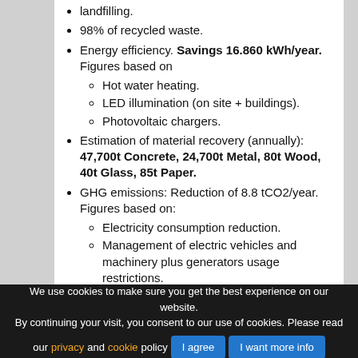landfilling.
98% of recycled waste.
Energy efficiency. Savings 16.860 kWh/year. Figures based on: Hot water heating. LED illumination (on site + buildings). Photovoltaic chargers.
Estimation of material recovery (annually): 47,700t Concrete, 24,700t Metal, 80t Wood, 40t Glass, 85t Paper.
GHG emissions: Reduction of 8.8 tCO2/year. Figures based on: Electricity consumption reduction. Management of electric vehicles and machinery plus generators usage restrictions. Use of low emissions vehicles during the demolition phase and preferred use
We use cookies to make sure you get the best experience on our website. By continuing your visit, you consent to our use of cookies. Please read our privacy and cookie policy  [I agree] [I want more info]